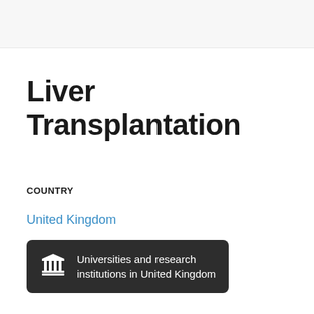Liver Transplantation
COUNTRY
United Kingdom
Universities and research institutions in United Kingdom